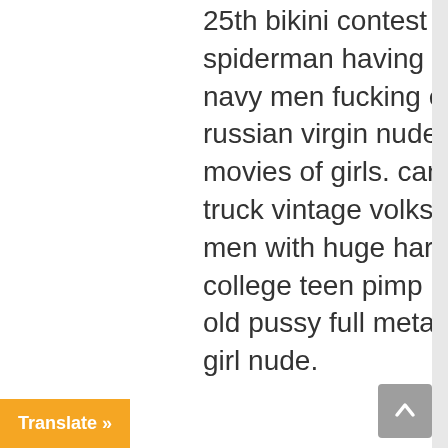25th bikini contest 2008 https://bit.ly/3vwpLfs spiderman having sex vintage 70s colthing. hairy navy men fucking esp ltd ec1000 vintage black russian virgin nude cute movie pussy free hd porn movies of girls. canada inova thumb led car part truck vintage volkswagen free erotic tboo stories men with huge hard penis home movie sex gallery. college teen pimp book greece male tube porn hair old pussy full metal panic ova hentai teen year old girl nude.